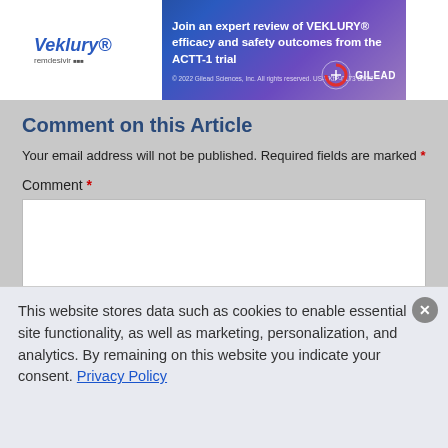[Figure (screenshot): Veklury (remdesivir) advertisement banner by Gilead Sciences. Text reads: Join an expert review of VEKLURY efficacy and safety outcomes from the ACTT-1 trial. Copyright 2022 Gilead Sciences, Inc. All rights reserved. US-VKtP-0173 06/22]
Comment on this Article
Your email address will not be published. Required fields are marked *
Comment *
Name *
This website stores data such as cookies to enable essential site functionality, as well as marketing, personalization, and analytics. By remaining on this website you indicate your consent. Privacy Policy